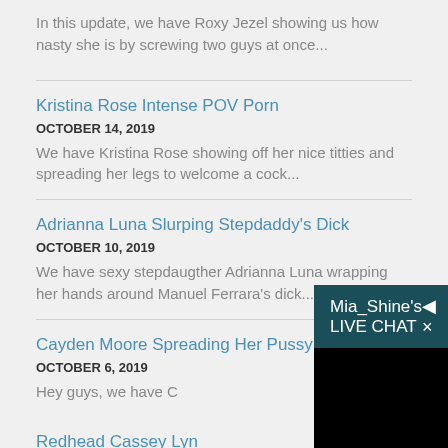In this update, we have Roxy Jezel showing us how nasty she is by screwing two guys at once...
Kristina Rose Intense POV Porn
OCTOBER 14, 2019
We have Kristina Rose showing off her nice titties and spreading her legs to welcome a cock...
Adrianna Luna Slurping Stepdaddy's Dick
OCTOBER 10, 2019
We have sexy stepdaugther Adrianna Luna wrapping her hands around Manuel Ferrara's dick...
Cayden Moore Spreading Her Pussy For a Cock
OCTOBER 6, 2019
Hey guys, we have C
Redhead Cassey Lyn
OCTOBER 2, 2019
Mia_Shine's LIVE CHAT